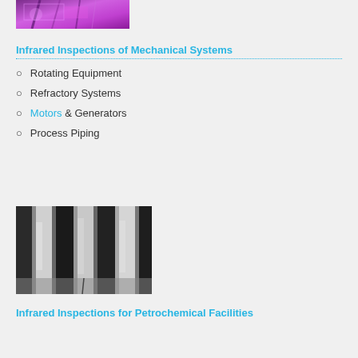[Figure (photo): Infrared/thermal image with purple-pink tones showing mechanical equipment]
Infrared Inspections of Mechanical Systems
Rotating Equipment
Refractory Systems
Motors & Generators
Process Piping
[Figure (photo): Infrared grayscale image showing vertical pipes or columns in a petrochemical facility]
Infrared Inspections for Petrochemical Facilities